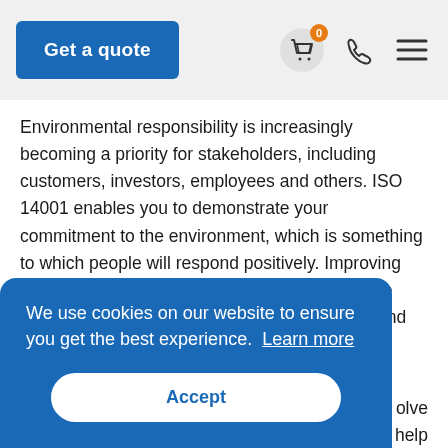Get a quote
Environmental responsibility is increasingly becoming a priority for stakeholders, including customers, investors, employees and others. ISO 14001 enables you to demonstrate your commitment to the environment, which is something to which people will respond positively. Improving your environmental performance can encourage existing customers to stay with your company and attract interest from new customers and stakeholders.
We use cookies on our website to ensure you get the best experience.  Learn more
Accept
...olve ...help your company reduce costs and gain a financial and